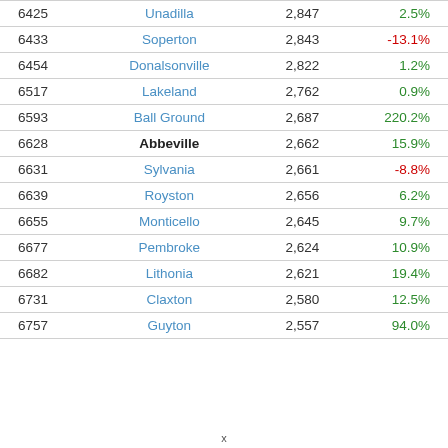|  | City | Population | Change |
| --- | --- | --- | --- |
| 6425 | Unadilla | 2,847 | 2.5% |
| 6433 | Soperton | 2,843 | -13.1% |
| 6454 | Donalsonville | 2,822 | 1.2% |
| 6517 | Lakeland | 2,762 | 0.9% |
| 6593 | Ball Ground | 2,687 | 220.2% |
| 6628 | Abbeville | 2,662 | 15.9% |
| 6631 | Sylvania | 2,661 | -8.8% |
| 6639 | Royston | 2,656 | 6.2% |
| 6655 | Monticello | 2,645 | 9.7% |
| 6677 | Pembroke | 2,624 | 10.9% |
| 6682 | Lithonia | 2,621 | 19.4% |
| 6731 | Claxton | 2,580 | 12.5% |
| 6757 | Guyton | 2,557 | 94.0% |